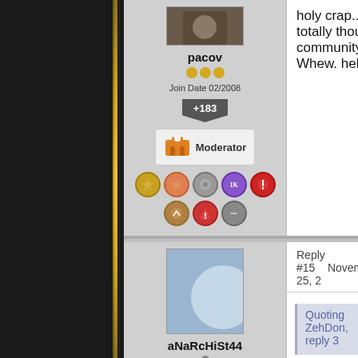[Figure (screenshot): Forum post user panel showing avatar photo, username 'pacov', gold dot rating, join date 02/2008, +183 reputation badge, Moderator badge with life vest icon, and various achievement badges]
holy crap... i totally though community." Whew. hehe
Reply #15    November 25, 2
[Figure (screenshot): Forum post user panel showing blue avatar placeholder, username 'aNaRcHiSt44', gray dot rating, join date 11/2009, +4 reputation badge, and achievement badges]
Quoting ZehDon, reply 3
Haha, I thought you were need fonts like 'Sarcastic The community as a wh